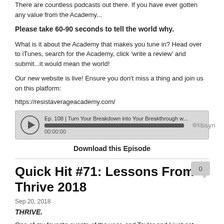There are countless podcasts out there. If you have ever gotten any value from the Academy...
Please take 60-90 seconds to tell the world why.
What is it about the Academy that makes you tune in? Head over to iTunes, search for the Academy, click 'write a review' and submit...it would mean the world!
Our new website is live! Ensure you don't miss a thing and join us on this platform:
https://resistaverageacademy.com/
[Figure (screenshot): Libsyn audio player showing Ep. 108 | Turn Your Breakdown into Your Breakthrough w... with progress bar at 00:00:00]
Download this Episode
Quick Hit #71: Lessons From Thrive 2018
Sep 20, 2018
THRIVE.
One of my favorite events of the year, and Taylor and I just got back from this awesome gathering of inspiring entrepreneurs and people with a mission...